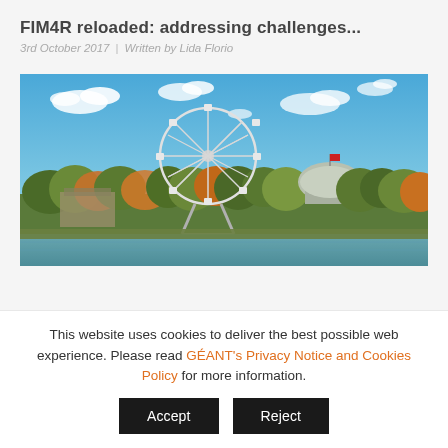FIM4R reloaded: addressing challenges...
3rd October 2017  |  Written by Lida Florio
[Figure (photo): Outdoor photograph of a large Ferris wheel against a blue sky with scattered white clouds. In the middle ground there is a cluster of autumn-colored trees and a dome-shaped building. A body of water is visible in the foreground.]
This website uses cookies to deliver the best possible web experience. Please read GÉANT's Privacy Notice and Cookies Policy for more information.